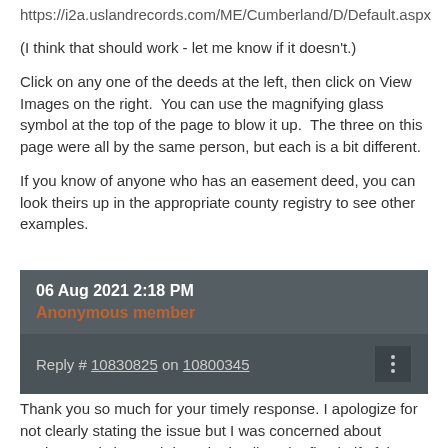https://i2a.uslandrecords.com/ME/Cumberland/D/Default.aspx
(I think that should work - let me know if it doesn't.)
Click on any one of the deeds at the left, then click on View Images on the right.  You can use the magnifying glass symbol at the top of the page to blow it up.  The three on this page were all by the same person, but each is a bit different.
If you know of anyone who has an easement deed, you can look theirs up in the appropriate county registry to see other examples.
06 Aug 2021 2:18 PM
Anonymous member
Reply # 10830825 on 10800345
Thank you so much for your timely response. I apologize for not clearly stating the issue but I was concerned about getting overly bogged down in details.  The first half of the road is deeded to an Association created for the original